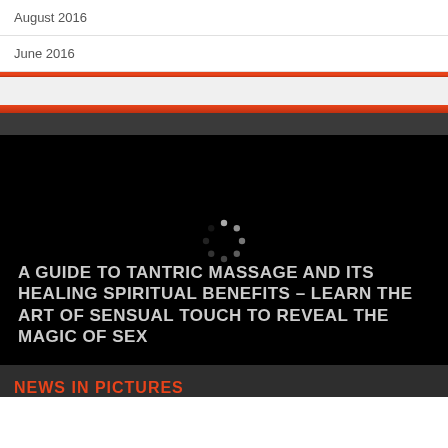August 2016
June 2016
[Figure (screenshot): Black video thumbnail with a loading spinner and white/gray uppercase text overlay reading: A GUIDE TO TANTRIC MASSAGE AND ITS HEALING SPIRITUAL BENEFITS – LEARN THE ART OF SENSUAL TOUCH TO REVEAL THE MAGIC OF SEX]
NEWS IN PICTURES